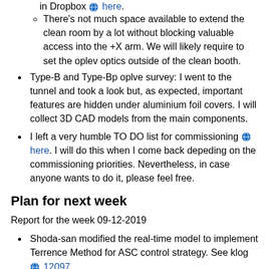There's not much space available to extend the clean room by a lot without blocking valuable access into the +X arm. We will likely require to set the oplev optics outside of the clean booth.
Type-B and Type-Bp oplve survey: I went to the tunnel and took a look but, as expected, important features are hidden under aluminium foil covers. I will collect 3D CAD models from the main components.
I left a very humble TO DO list for commissioning here. I will do this when I come back depeding on the commissioning priorities. Nevertheless, in case anyone wants to do it, please feel free.
Plan for next week
Report for the week 09-12-2019
Shoda-san modified the real-time model to implement Terrence Method for ASC control strategy. See klog 12097.
On Monday I tested a script for the oplev diagonalization procedure based on Terrence's